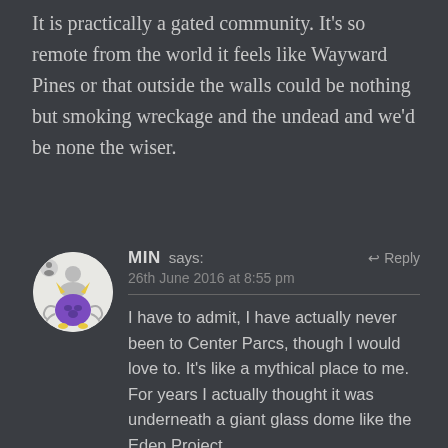It is practically a gated community. It's so remote from the world it feels like Wayward Pines or that outside the walls could be nothing but smoking wreckage and the undead and we'd be none the wiser.
[Figure (illustration): Circular avatar image of a cartoon purple monster character with horns on a light grey/white background]
MIN says: 26th June 2016 at 8:55 pm Reply
I have to admit, I have actually never been to Center Parcs, though I would love to. It's like a mythical place to me. For years I actually thought it was underneath a giant glass dome like the Eden Project.